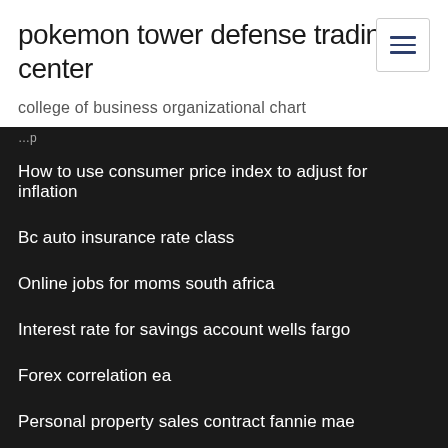pokemon tower defense trading center
college of business organizational chart
How to use consumer price index to adjust for inflation
Bc auto insurance rate class
Online jobs for moms south africa
Interest rate for savings account wells fargo
Forex correlation ea
Personal property sales contract fannie mae
Disability allowance rates 2005
Explain present and future value of money